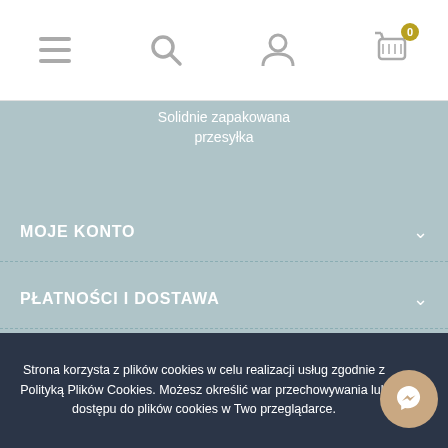[Figure (screenshot): Top navigation bar with hamburger menu, search, user account, and shopping cart icons. Cart shows badge with number 0.]
Solidnie zapakowana przesyłka
MOJE KONTO
PŁATNOŚCI I DOSTAWA
WSPÓŁPRACA B2B
Strona korzysta z plików cookies w celu realizacji usług zgodnie z Polityką Plików Cookies. Możesz określić warunki przechowywania lub dostępu do plików cookies w Twojej przeglądarce.